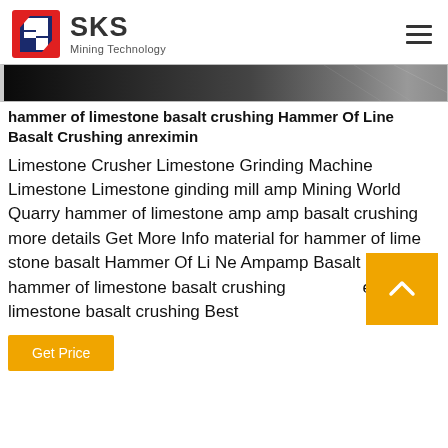[Figure (logo): SKS Mining Technology logo with red and blue geometric shield icon and company name]
[Figure (photo): Dark grayscale banner image of mining/crushing equipment]
hammer of limestone basalt crushing Hammer Of Line Basalt Crushing anreximin
Limestone Crusher Limestone Grinding Machine Limestone Limestone ginding mill amp Mining World Quarry hammer of limestone amp amp basalt crushing more details Get More Info material for hammer of lime stone basalt Hammer Of Li Ne Ampamp Basalt Crushing hammer of limestone basalt crushing hammer of limestone basalt crushing Best
[Figure (other): Yellow scroll-to-top button with upward arrow chevron]
Get Price